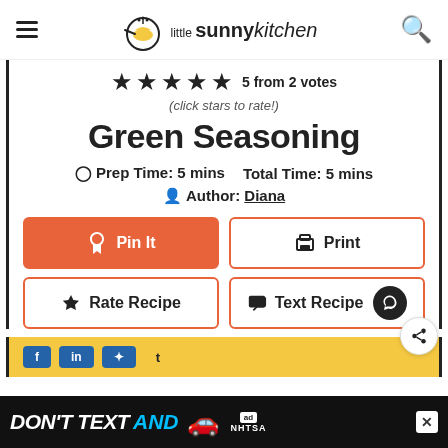little sunny kitchen
★★★★★ 5 from 2 votes
(click stars to rate!)
Green Seasoning
Prep Time: 5 mins   Total Time: 5 mins
Author: Diana
[Figure (screenshot): Pin It button (orange), Print button (outlined)]
[Figure (screenshot): Rate Recipe button (outlined), Text Recipe button (outlined), heart badge]
[Figure (screenshot): Yellow section with blue social share buttons]
[Figure (screenshot): Ad banner: DON'T TEXT AND with car emoji and NHTSA logo]